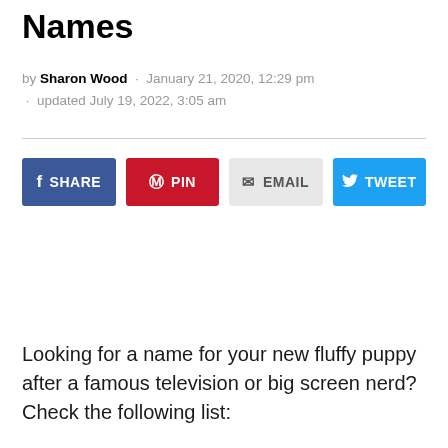Names
by Sharon Wood · January 21, 2020, 12:29 pm · updated July 19, 2022, 3:05 am
[Figure (other): Social sharing buttons: Share (Facebook, blue), Pin (Pinterest, red), Email (grey), Tweet (Twitter, cyan)]
Looking for a name for your new fluffy puppy after a famous television or big screen nerd? Check the following list: